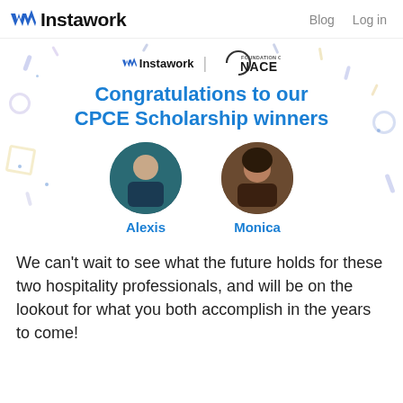Instawork   Blog   Log in
[Figure (infographic): Instawork and NACE Foundation co-branded banner announcing CPCE Scholarship winners Alexis and Monica, with circular profile photos of each winner and colorful confetti decorations on a white background.]
We can't wait to see what the future holds for these two hospitality professionals, and will be on the lookout for what you both accomplish in the years to come!